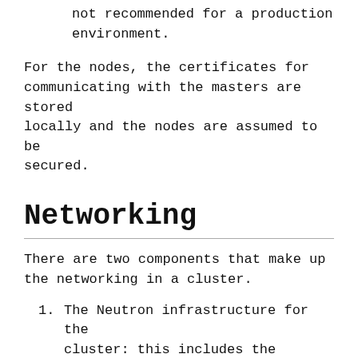not recommended for a production environment.
For the nodes, the certificates for communicating with the masters are stored locally and the nodes are assumed to be secured.
Networking
There are two components that make up the networking in a cluster.
The Neutron infrastructure for the cluster: this includes the private network, subnet, ports, routers, load balancers, etc.
The networking model presented to the containers: this is what the containers see in communicating with each other